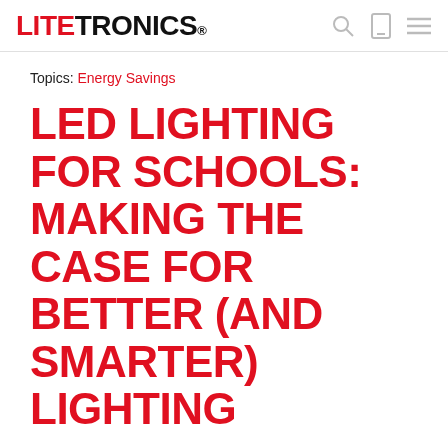LITETRONICS® [search icon] [mobile icon] [menu icon]
Topics: Energy Savings
LED LIGHTING FOR SCHOOLS: MAKING THE CASE FOR BETTER (AND SMARTER) LIGHTING
Posted on September 23, 2021